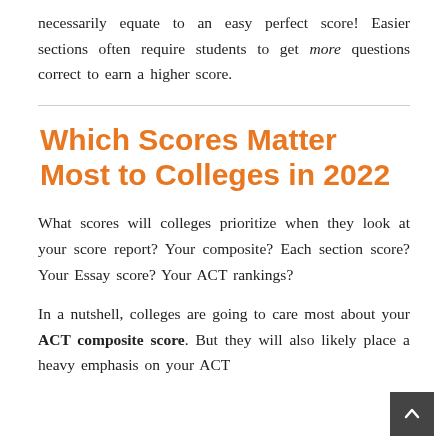necessarily equate to an easy perfect score! Easier sections often require students to get more questions correct to earn a higher score.
Which Scores Matter Most to Colleges in 2022
What scores will colleges prioritize when they look at your score report? Your composite? Each section score? Your Essay score? Your ACT rankings?
In a nutshell, colleges are going to care most about your ACT composite score. But they will also likely place a heavy emphasis on your ACT